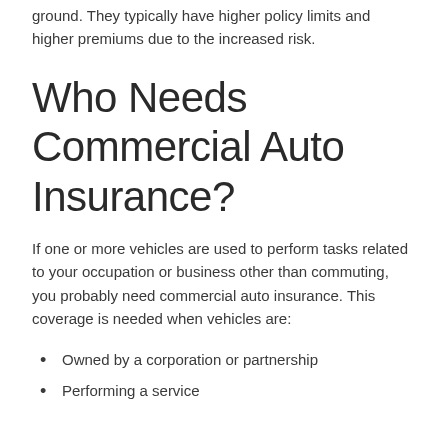ground. They typically have higher policy limits and higher premiums due to the increased risk.
Who Needs Commercial Auto Insurance?
If one or more vehicles are used to perform tasks related to your occupation or business other than commuting, you probably need commercial auto insurance. This coverage is needed when vehicles are:
Owned by a corporation or partnership
Performing a service